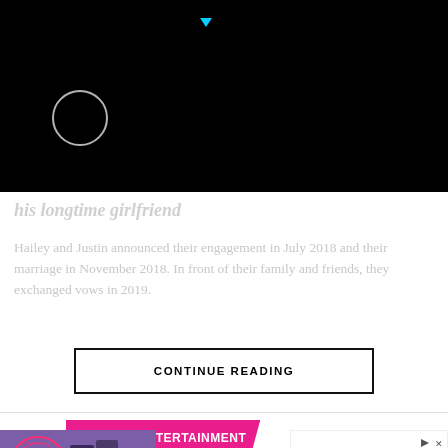[Figure (screenshot): Black video player area with a circular spinner/loading indicator on the left and a small cyan triangle/play indicator at the top center]
his longtime girlfriend
Hailey and Justin announced their engagement in July 2018 and their marriage in November 2018. In front of their family and friends, they exchanged vows in 2019.
CONTINUE READING
STYLE & ENTERTAINMENT
[Figure (photo): Harajuku Collective logo with two women in purple/black outfits against a purple background]
[Figure (screenshot): Hot Topic advertisement with SHOP NOW button and Studio Ghibli branding]